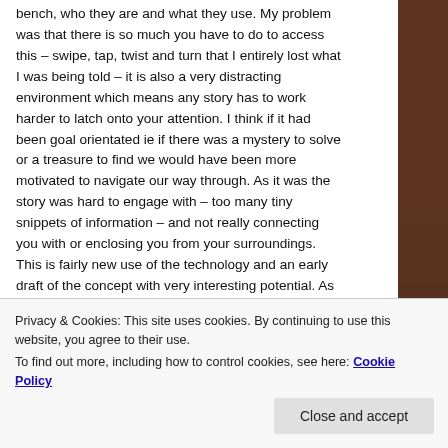bench, who they are and what they use. My problem was that there is so much you have to do to access this – swipe, tap, twist and turn that I entirely lost what I was being told – it is also a very distracting environment which means any story has to work harder to latch onto your attention. I think if it had been goal orientated ie if there was a mystery to solve or a treasure to find we would have been more motivated to navigate our way through. As it was the story was hard to engage with – too many tiny snippets of information – and not really connecting you with or enclosing you from your surroundings. This is fairly new use of the technology and an early draft of the concept with very interesting potential. As it was I'm afraid we gave up (co-critic Katarina was quite tired with all the walking) after a couple of stops on the journey but would
Privacy & Cookies: This site uses cookies. By continuing to use this website, you agree to their use.
To find out more, including how to control cookies, see here: Cookie Policy